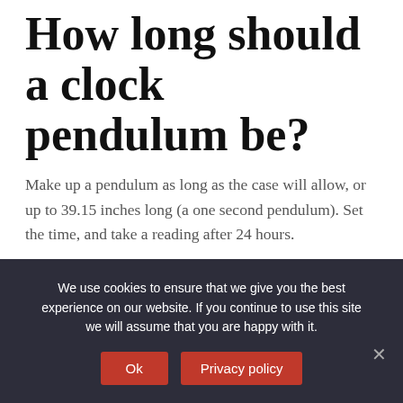How long should a clock pendulum be?
Make up a pendulum as long as the case will allow, or up to 39.15 inches long (a one second pendulum). Set the time, and take a reading after 24 hours.
Does the weight of a pendulum matter?
We use cookies to ensure that we give you the best experience on our website. If you continue to use this site we will assume that you are happy with it.